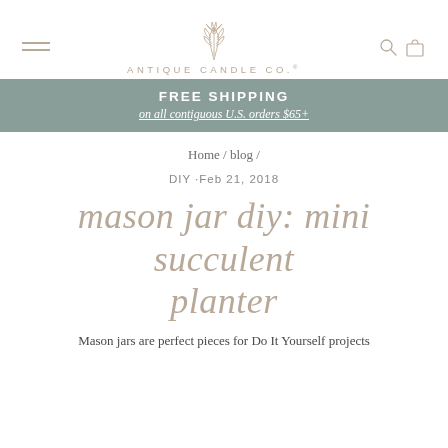ANTIQUE CANDLE CO.®
FREE SHIPPING
on all contiguous U.S. orders $65+
Home / blog /
DIY ·Feb 21, 2018
mason jar diy: mini succulent planter
Mason jars are perfect pieces for Do It Yourself projects